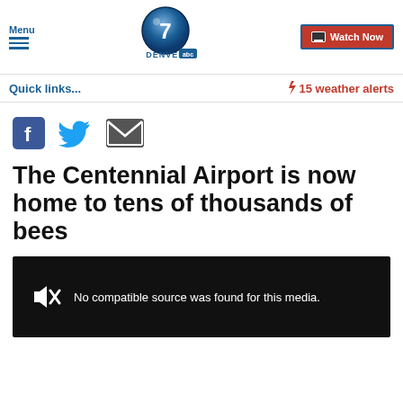Menu | Denver 7 ABC | Watch Now
Quick links...
⚡ 15 weather alerts
[Figure (other): Social share icons: Facebook, Twitter, Email]
The Centennial Airport is now home to tens of thousands of bees
[Figure (other): Video player showing: No compatible source was found for this media.]